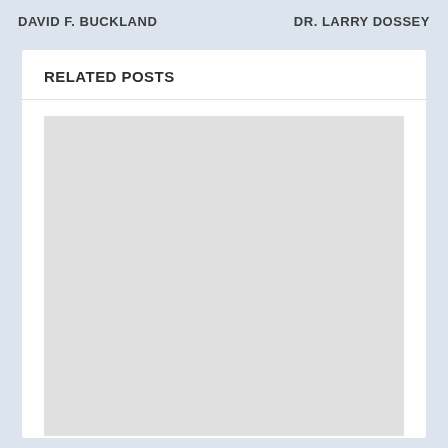DAVID F. BUCKLAND    DR. LARRY DOSSEY
RELATED POSTS
[Figure (photo): A large light gray placeholder image rectangle, indicating a missing or loading image in the related posts section.]